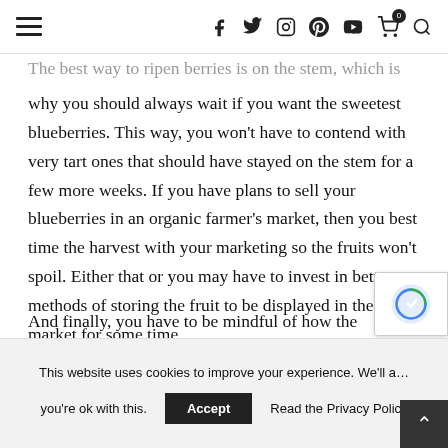≡  f  y  ⊙  ⊕  ▶  🛒 0  🔍
The best way to ripen berries is on the stem, which is why you should always wait if you want the sweetest blueberries. This way, you won't have to contend with very tart ones that should have stayed on the stem for a few more weeks. If you have plans to sell your blueberries in an organic farmer's market, then you best time the harvest with your marketing so the fruits won't spoil. Either that or you may have to invest in better methods of storing the fruit to be displayed in the market for some time.
And finally, you have to be mindful of how the
This website uses cookies to improve your experience. We'll a… you're ok with this.  Accept  Read the Privacy Policy